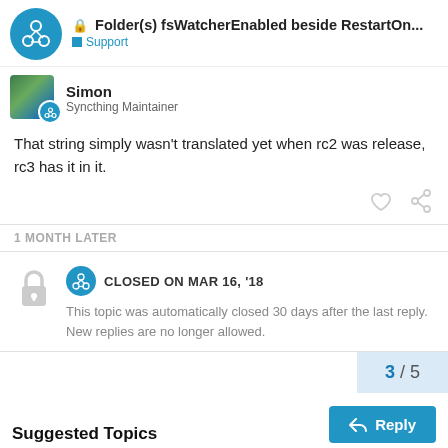Folder(s) fsWatcherEnabled beside RestartOn... — Support
Simon
Syncthing Maintainer
That string simply wasn't translated yet when rc2 was release, rc3 has it in it.
1 MONTH LATER
CLOSED ON MAR 16, '18
This topic was automatically closed 30 days after the last reply. New replies are no longer allowed.
3 / 5
Suggested Topics